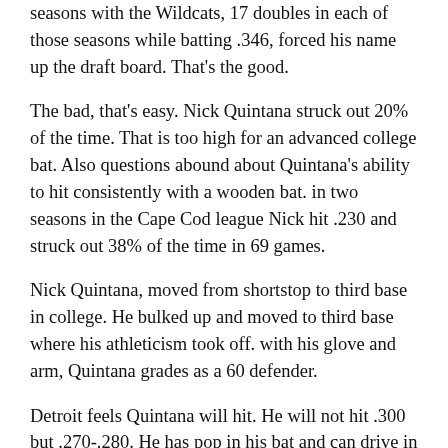seasons with the Wildcats, 17 doubles in each of those seasons while batting .346, forced his name up the draft board. That's the good.
The bad, that's easy. Nick Quintana struck out 20% of the time. That is too high for an advanced college bat. Also questions abound about Quintana's ability to hit consistently with a wooden bat. in two seasons in the Cape Cod league Nick hit .230 and struck out 38% of the time in 69 games.
Nick Quintana, moved from shortstop to third base in college. He bulked up and moved to third base where his athleticism took off. with his glove and arm, Quintana grades as a 60 defender.
Detroit feels Quintana will hit. He will not hit .300 but .270-.280. He has pop in his bat and can drive in runs. He should fill out to be an above average player.